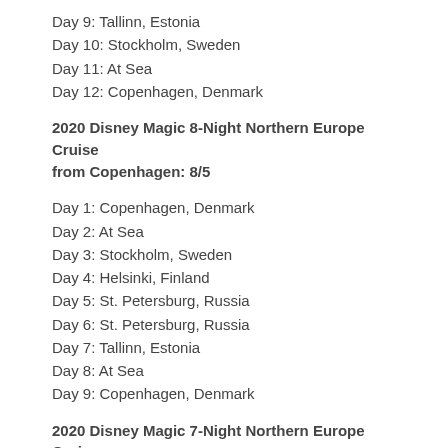Day 9: Tallinn, Estonia
Day 10: Stockholm, Sweden
Day 11: At Sea
Day 12: Copenhagen, Denmark
2020 Disney Magic 8-Night Northern Europe Cruise from Copenhagen: 8/5
Day 1: Copenhagen, Denmark
Day 2: At Sea
Day 3: Stockholm, Sweden
Day 4: Helsinki, Finland
Day 5: St. Petersburg, Russia
Day 6: St. Petersburg, Russia
Day 7: Tallinn, Estonia
Day 8: At Sea
Day 9: Copenhagen, Denmark
2020 Disney Magic 7-Night Northern Europe Cruise